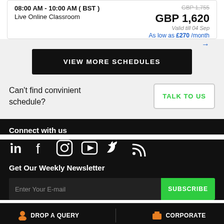08:00 AM - 10:00 AM ( BST )
Live Online Classroom
GBP 1,755 GBP 1,620 Valid till 04 Sep As low as £270 /month
VIEW MORE SCHEDULES
Can't find convinient schedule?
TALK TO US
Connect with us
[Figure (illustration): Social media icons: LinkedIn, Facebook, Instagram, YouTube, Twitter, RSS]
Get Our Weekly Newsletter
Enter Your E-mail  SUBSCRIBE
DROP A QUERY   CORPORATE